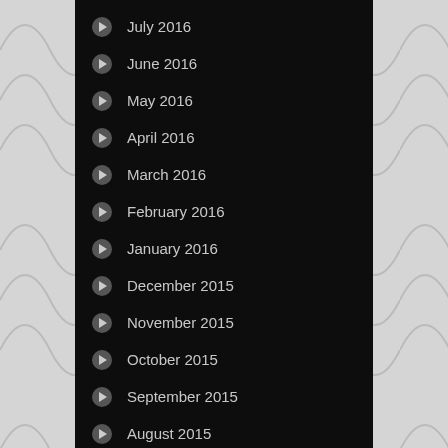July 2016
June 2016
May 2016
April 2016
March 2016
February 2016
January 2016
December 2015
November 2015
October 2015
September 2015
August 2015
July 2015
June 2015
May 2015